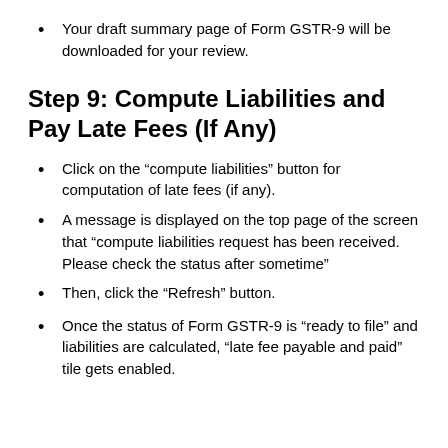Your draft summary page of Form GSTR-9 will be downloaded for your review.
Step 9: Compute Liabilities and Pay Late Fees (If Any)
Click on the “compute liabilities” button for computation of late fees (if any).
A message is displayed on the top page of the screen that “compute liabilities request has been received. Please check the status after sometime”
Then, click the “Refresh” button.
Once the status of Form GSTR-9 is “ready to file” and liabilities are calculated, “late fee payable and paid” tile gets enabled.